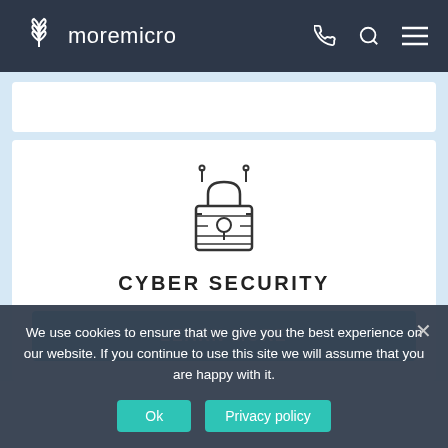moremicro
[Figure (illustration): Padlock icon with circuit/antenna lines representing cyber security]
CYBER SECURITY
LEARN MORE
We use cookies to ensure that we give you the best experience on our website. If you continue to use this site we will assume that you are happy with it.
Ok
Privacy policy